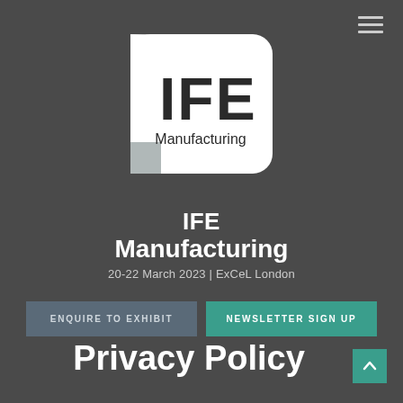[Figure (logo): IFE Manufacturing logo: white rounded square with bold black IFE text and Manufacturing subtitle, with grey square accent at bottom left]
IFE Manufacturing
20-22 March 2023 | ExCeL London
ENQUIRE TO EXHIBIT
NEWSLETTER SIGN UP
Privacy Policy